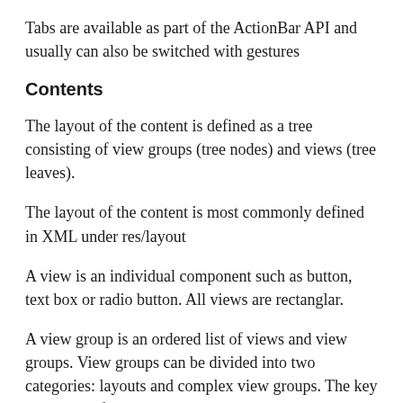Tabs are available as part of the ActionBar API and usually can also be switched with gestures
Contents
The layout of the content is defined as a tree consisting of view groups (tree nodes) and views (tree leaves).
The layout of the content is most commonly defined in XML under res/layout
A view is an individual component such as button, text box or radio button. All views are rectanglar.
A view group is an ordered list of views and view groups. View groups can be divided into two categories: layouts and complex view groups. The key layouts are frame, linear, relative and grid. The key complex view groups are list views and scroll views